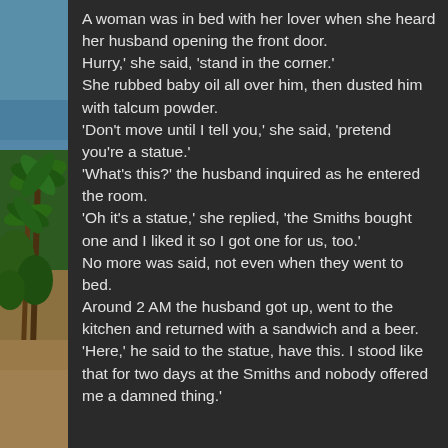[Figure (illustration): Beach scene on the left side strip showing palm trees, ocean water, sand, and blue sky]
A woman was in bed with her lover when she heard her husband opening the front door. Hurry,' she said, 'stand in the corner.' She rubbed baby oil all over him, then dusted him with talcum powder. 'Don't move until I tell you,' she said, 'pretend you're a statue.' 'What's this?' the husband inquired as he entered the room. 'Oh it's a statue,' she replied, 'the Smiths bought one and I liked it so I got one for us, too.' No more was said, not even when they went to bed. Around 2 AM the husband got up, went to the kitchen and returned with a sandwich and a beer. 'Here,' he said to the statue, have this. I stood like that for two days at the Smiths and nobody offered me a damned thing.'